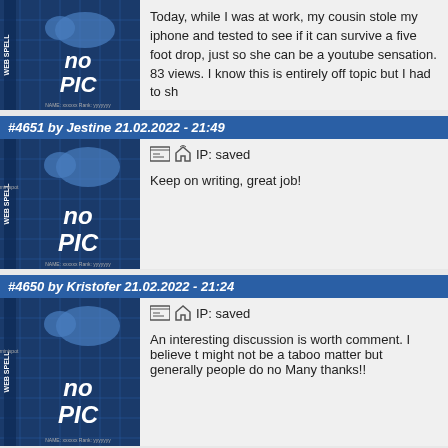Today, while I was at work, my cousin stole my iphone and tested to see if it can survive a five foot drop, just so she can be a youtube sensation. My apple ipad is now broken and she has 83 views. I know this is entirely off topic but I had to sh
#4651 by Jestine 21.02.2022 - 21:49
IP: saved
Keep on writing, great job!
#4650 by Kristofer 21.02.2022 - 21:24
IP: saved
An interesting discussion is worth comment. I believe that you might not be a taboo matter but generally people do no Many thanks!!
#4649 by Edith 21.02.2022 - 14:59
IP: saved